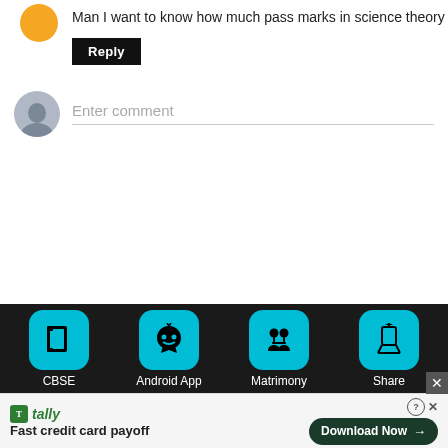Man I want to know how much pass marks in science theory
Reply
Enter comment
[Figure (screenshot): Bottom navigation bar with teal icons for CBSE, Android App, Matrimony, Share on dark background]
[Figure (infographic): Advertisement bar for Tally: Fast credit card payoff with Download Now button]